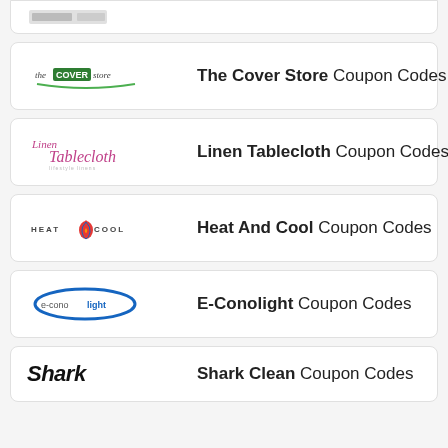The Cover Store Coupon Codes
Linen Tablecloth Coupon Codes
Heat And Cool Coupon Codes
E-Conolight Coupon Codes
Shark Clean Coupon Codes